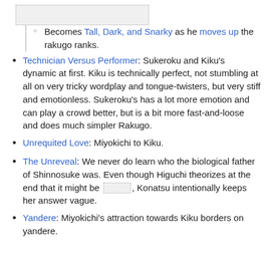[Figure (other): Dotted placeholder box at top of page]
Becomes Tall, Dark, and Snarky as he moves up the rakugo ranks.
Technician Versus Performer: Sukeroku and Kiku's dynamic at first. Kiku is technically perfect, not stumbling at all on very tricky wordplay and tongue-twisters, but very stiff and emotionless. Sukeroku's has a lot more emotion and can play a crowd better, but is a bit more fast-and-loose and does much simpler Rakugo.
Unrequited Love: Miyokichi to Kiku.
The Unreveal: We never do learn who the biological father of Shinnosuke was. Even though Higuchi theorizes at the end that it might be [redacted], Konatsu intentionally keeps her answer vague.
Yandere: Miyokichi's attraction towards Kiku borders on yandere.